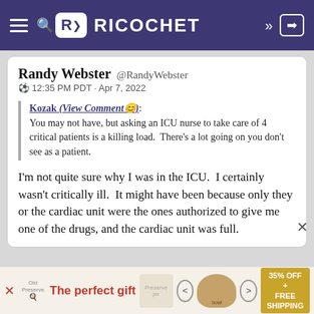RICOCHET
Randy Webster @RandyWebster
⊙ 12:35 PM PDT · Apr 7, 2022
Kozak (View Comment😊): You may not have, but asking an ICU nurse to take care of 4 critical patients is a killing load. There's a lot going on you don't see as a patient.
I'm not quite sure why I was in the ICU. I certainly wasn't critically ill. It might have been because only they or the cardiac unit were the ones authorized to give me one of the drugs, and the cardiac unit was full.
The perfect gift — 35% OFF + FREE SHIPPING